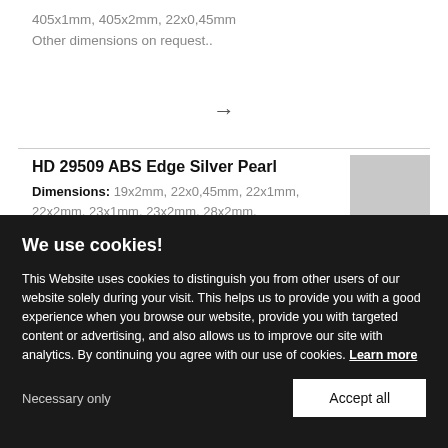405x1mm, 405x2mm, 22x0,45mm
Other dimensions on request..
[Figure (other): Right arrow symbol →]
HD 29509 ABS Edge Silver Pearl
Dimensions: 19x2mm, 22x0,45mm, 22x1mm, 22x2mm, 23x1mm, 23x2mm, 28x2mm,
[Figure (photo): Silver pearl ABS edge banding material swatch]
We use cookies!
This Website uses cookies to distinguish you from other users of our website solely during your visit. This helps us to provide you with a good experience when you browse our website, provide you with targeted content or advertising, and also allows us to improve our site with analytics. By continuing you agree with our use of cookies. Learn more